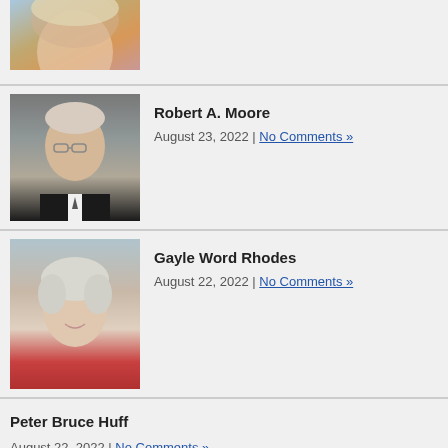[Figure (photo): Partial photo of a woman at the top of the page, cropped]
[Figure (photo): Portrait photo of Robert A. Moore, elderly man with glasses in dark suit]
Robert A. Moore
August 23, 2022 | No Comments »
[Figure (photo): Portrait photo of Gayle Word Rhodes, elderly woman smiling in red top]
Gayle Word Rhodes
August 22, 2022 | No Comments »
Peter Bruce Huff
August 22, 2022 | No Comments »
[Figure (photo): Partial image at bottom of page, teal/blue colored element with rounded top corners]